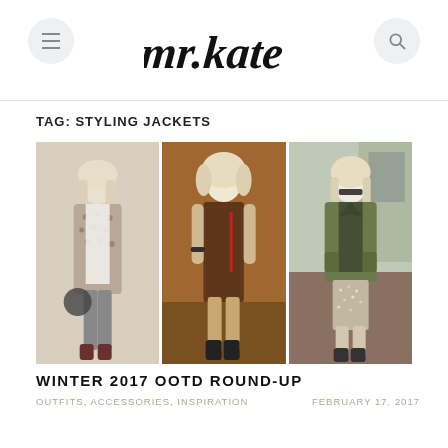mr.kate
TAG: STYLING JACKETS
[Figure (photo): Three fashion photos side by side showing women in stylish outfits: left - woman in leopard print cardigan with leggings and bag; center - woman in velvet burnout mini dress; right - woman in olive green jacket with sequin skirt and sheer top]
WINTER 2017 OOTD ROUND-UP
OUTFITS, ACCESSORIES, INSPIRATION     FEBRUARY 17, 2017